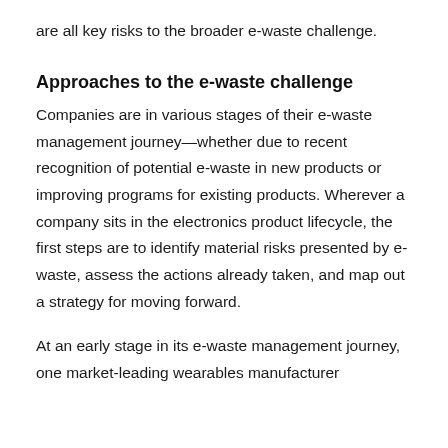are all key risks to the broader e-waste challenge.
Approaches to the e-waste challenge
Companies are in various stages of their e-waste management journey—whether due to recent recognition of potential e-waste in new products or improving programs for existing products. Wherever a company sits in the electronics product lifecycle, the first steps are to identify material risks presented by e-waste, assess the actions already taken, and map out a strategy for moving forward.
At an early stage in its e-waste management journey, one market-leading wearables manufacturer